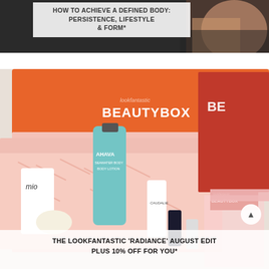[Figure (photo): Fitness/body photo with a white overlay box containing bold uppercase text: HOW TO ACHIEVE A DEFINED BODY: PERSISTENCE, LIFESTYLE & FORM*]
HOW TO ACHIEVE A DEFINED BODY: PERSISTENCE, LIFESTYLE & FORM*
[Figure (photo): Open lookfantastic BEAUTYBOX orange box filled with pink shredded paper and beauty products including AHAVA body lotion (teal tube), mio body wash, Caudalie product, and other beauty items. Red lookfantastic magazine visible on the right.]
THE LOOKFANTASTIC 'RADIANCE' AUGUST EDIT PLUS 10% OFF FOR YOU*